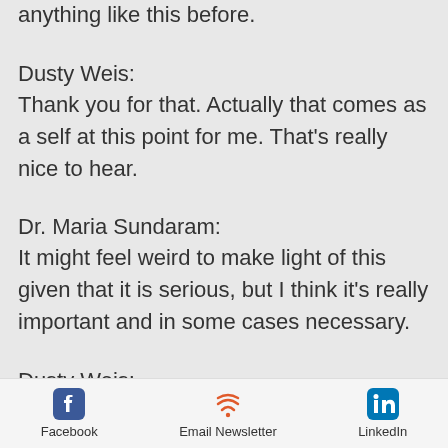anything like this before.
Dusty Weis:
Thank you for that. Actually that comes as a self at this point for me. That's really nice to hear.
Dr. Maria Sundaram:
It might feel weird to make light of this given that it is serious, but I think it's really important and in some cases necessary.
Dusty Weis:
Why is it that we still know so little about this virus at this point? If Dr. House was on the case right now, he
Facebook   Email Newsletter   LinkedIn